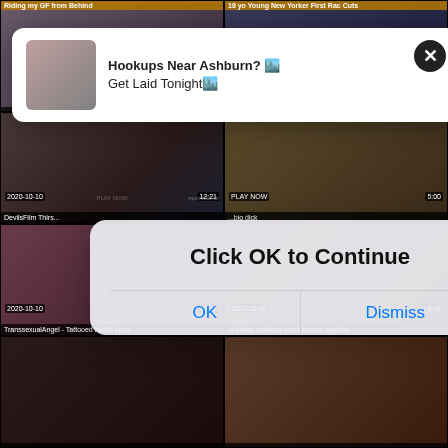[Figure (screenshot): Video thumbnail grid of adult content website with two overlapping popups: a notification banner and an age/continue dialog.]
Hookups Near Ashburn? 🏙️
Get Laid Tonight🏙️
Click OK to Continue
OK
Dismiss
DevilsFilm Thirst...
big dick
TranssexualAngel - Tattooed Hottie Luna
Hot teen lesbians masturbates together
2020-10-10
5:00
2020-10-10
10:17
2020-10-10
6:18